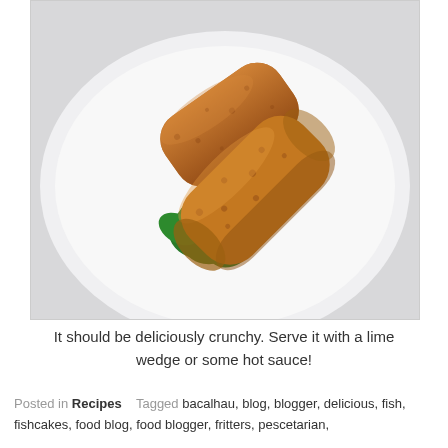[Figure (photo): Two golden-brown breaded croquettes (bacalhau/fish cakes) on a white plate, garnished with a fresh green herb leaf (cilantro/parsley).]
It should be deliciously crunchy. Serve it with a lime wedge or some hot sauce!
Posted in Recipes   Tagged bacalhau, blog, blogger, delicious, fish, fishcakes, food blog, food blogger, fritters, pescetarian,